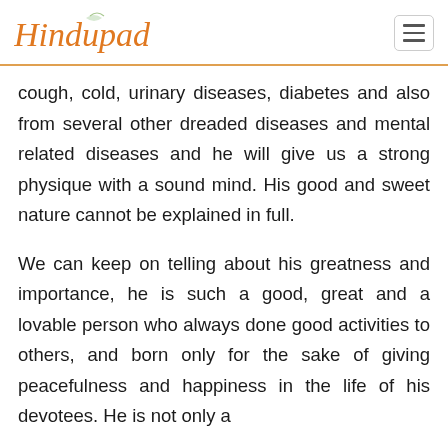Hindupad
cough, cold, urinary diseases, diabetes and also from several other dreaded diseases and mental related diseases and he will give us a strong physique with a sound mind. His good and sweet nature cannot be explained in full.
We can keep on telling about his greatness and importance, he is such a good, great and a lovable person who always done good activities to others, and born only for the sake of giving peacefulness and happiness in the life of his devotees. He is not only a